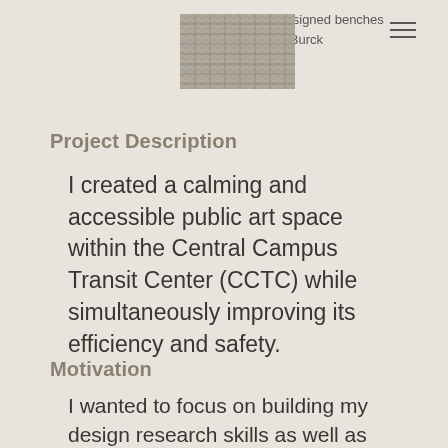center and the redesigned benches with audio by Sam Burck
[Figure (photo): Thumbnail photo showing textured woven or mesh surface detail]
Project Description
I created a calming and accessible public art space within the Central Campus Transit Center (CCTC) while simultaneously improving its efficiency and safety.
Motivation
I wanted to focus on building my design research skills as well as working with my